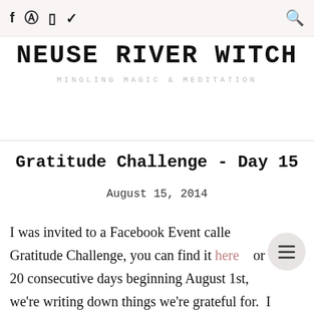f  [pinterest]  [instagram]  [twitter]  [search]
NEUSE RIVER WITCH
MINGLING MAGIC & MEDITATION
Gratitude Challenge - Day 15
August 15, 2014
I was invited to a Facebook Event called Gratitude Challenge, you can find it here for 20 consecutive days beginning August 1st, we're writing down things we're grateful for.  I